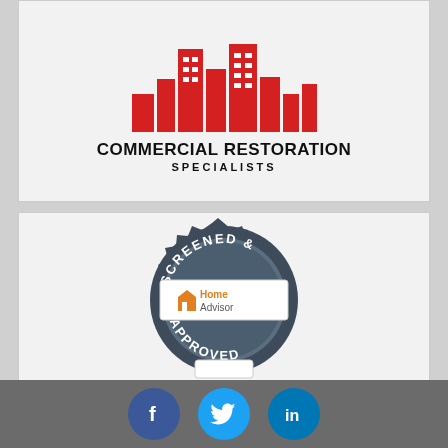[Figure (logo): Commercial Restoration Specialists logo with red city skyline silhouette and bold black text]
[Figure (logo): HomeAdvisor Screened & Approved badge — metallic dark gear-shaped seal with 'SCREENED &' at top and 'APPROVED' at bottom, white rectangular HomeAdvisor logo in center]
Soil-Away
Proud Member of
[Figure (infographic): Social media icons row: Facebook (blue circle with f), Twitter (cyan circle with bird), LinkedIn (teal circle with in)]